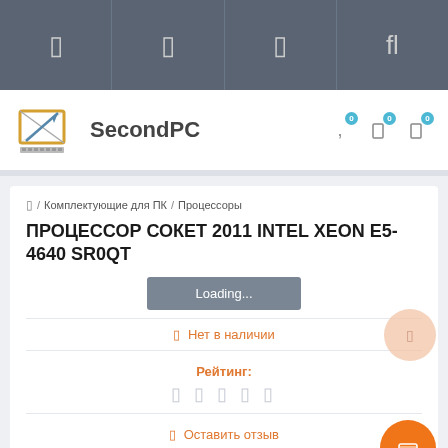Navigation bar with icons
[Figure (logo): SecondPC logo with laptop/monitor graphic]
/ Комплектующие для ПК / Процессоры
ПРОЦЕССОР СОКЕТ 2011 INTEL XEON E5-4640 SR0QT
Loading...
🔴 Нет в наличии
Рейтинг:
★ ★ ★ ★ ★
🔴 Оставить отзыв